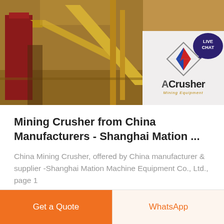[Figure (photo): Industrial/mining equipment photo showing conveyor belts and large steel structures in an outdoor construction/mining site. On the right portion is an ACrusher Mining Equipment logo overlay on a light grey background, and a LIVE CHAT speech bubble icon in teal/navy in the top-right corner.]
Mining Crusher from China Manufacturers - Shanghai Mation ...
China Mining Crusher, offered by China manufacturer & supplier -Shanghai Mation Machine Equipment Co., Ltd., page 1